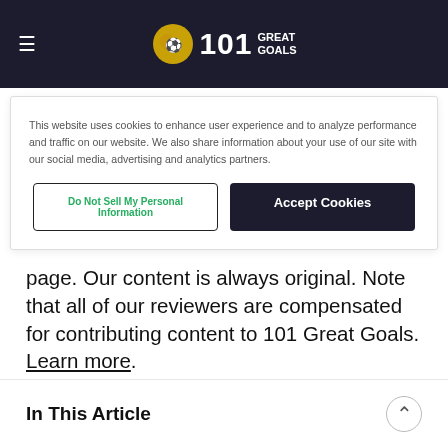101 Great Goals
This website uses cookies to enhance user experience and to analyze performance and traffic on our website. We also share information about your use of our site with our social media, advertising and analytics partners.
Do Not Sell My Personal Information | Accept Cookies
page. Our content is always original. Note that all of our reviewers are compensated for contributing content to 101 Great Goals. Learn more.
Sam May
In This Article